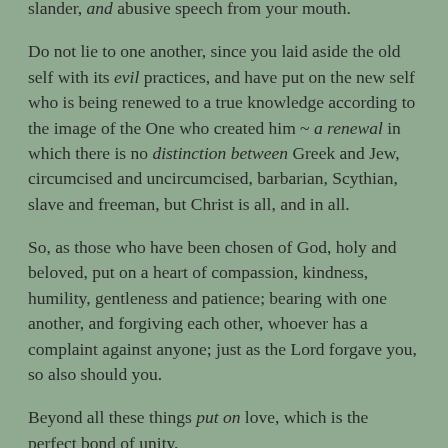slander, and abusive speech from your mouth.
Do not lie to one another, since you laid aside the old self with its evil practices, and have put on the new self who is being renewed to a true knowledge according to the image of the One who created him ~ a renewal in which there is no distinction between Greek and Jew, circumcised and uncircumcised, barbarian, Scythian, slave and freeman, but Christ is all, and in all.
So, as those who have been chosen of God, holy and beloved, put on a heart of compassion, kindness, humility, gentleness and patience; bearing with one another, and forgiving each other, whoever has a complaint against anyone; just as the Lord forgave you, so also should you.
Beyond all these things put on love, which is the perfect bond of unity.
Let the peace of Christ rule in your hearts, to which indeed you were called in one body; and be thankful.